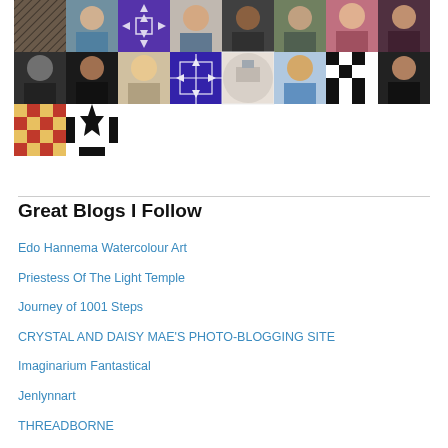[Figure (photo): Grid of avatar/profile images arranged in 3 rows. Row 1: 8 avatars (photos and geometric patterns). Row 2: 8 avatars (photos, geometric patterns, building photo). Row 3: 2 geometric pattern avatars.]
Great Blogs I Follow
Edo Hannema Watercolour Art
Priestess Of The Light Temple
Journey of 1001 Steps
CRYSTAL AND DAISY MAE'S PHOTO-BLOGGING SITE
Imaginarium Fantastical
Jenlynnart
THREADBORNE
THE LANSDOWNE HOUSE
Jess Starwood
House of A Writer
I didn't have my glasses on